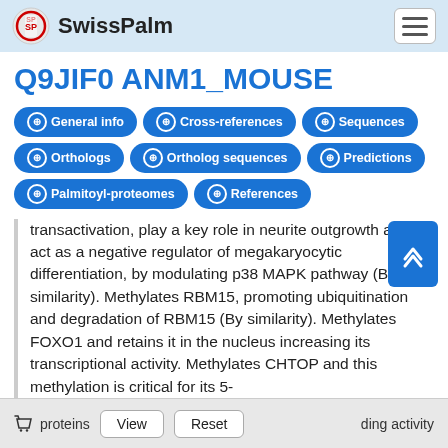SwissPalm
Q9JIF0 ANM1_MOUSE
General info
Cross-references
Sequences
Orthologs
Ortholog sequences
Predictions
Palmitoyl-proteomes
References
transactivation, play a key role in neurite outgrowth and act as a negative regulator of megakaryocytic differentiation, by modulating p38 MAPK pathway (By similarity). Methylates RBM15, promoting ubiquitination and degradation of RBM15 (By similarity). Methylates FOXO1 and retains it in the nucleus increasing its transcriptional activity. Methylates CHTOP and this methylation is critical for its 5-
proteins  View  Reset  ...ding activity